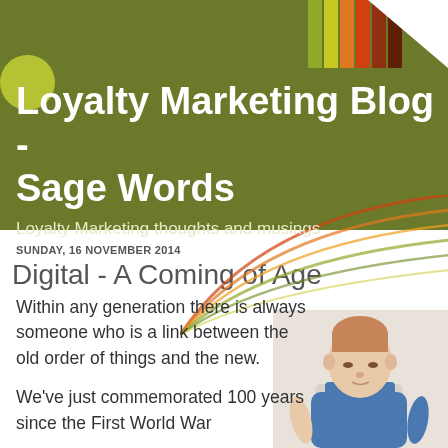[Figure (illustration): Decorative colored vertical stripes in green, orange, red, and dark brown in the top-right corner of the page header]
Loyalty Marketing Blog - Sage Words
Loyalty Marketing thoughts and musings
[Figure (illustration): Decorative concentric arc swirl lines in orange, red, green colors behind the post content area]
SUNDAY, 16 NOVEMBER 2014
Digital - A Coming of Age
Within any generation there is always someone who is a link between the old order of things and the new.
We've just commemorated 100 years since the First World War
[Figure (photo): A young toddler with reddish hair wearing blue dungarees over a grey shirt, looking down]